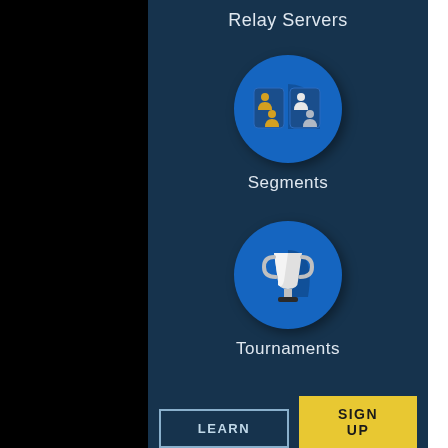Relay Servers
[Figure (illustration): Blue circle icon with two panels each showing two user/person silhouettes, one panel with gold figures, one with white figures — representing Segments.]
Segments
[Figure (illustration): Blue circle icon with a white trophy cup with shadow — representing Tournaments.]
Tournaments
LEARN
SIGN